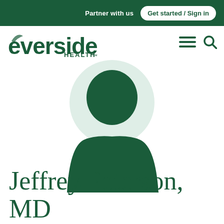Partner with us   Get started / Sign in
[Figure (logo): Everside Health logo in green with stylized 'e' leaf icon]
[Figure (illustration): Doctor profile silhouette: light green circle background with dark green abstract head/torso shape representing a physician placeholder avatar]
Jeffrey Peterson, MD